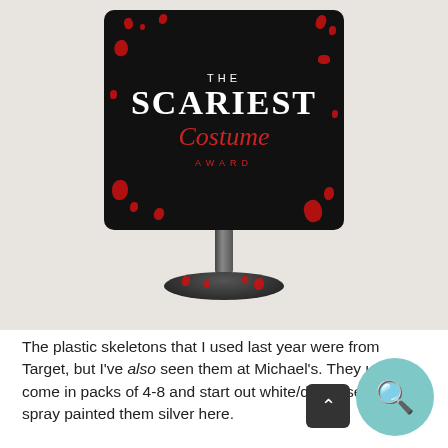[Figure (photo): A black award plaque on a black pedestal stand, decorated with red blood splatter. The plaque reads 'THE SCARIEST Costume AWARD' in white and red lettering. The background is a pale gray/beige surface.]
The plastic skeletons that I used last year were from Target, but I've also seen them at Michael's. They usually come in packs of 4-8 and start out white/distressed, so I spray painted them silver here.